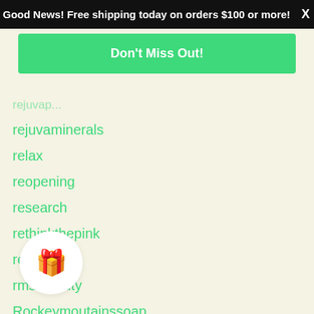Good News! Free shipping today on orders $100 or more! X
Don't Miss Out!
rejuvaminerals
relax
reopening
research
rethinkthepink
review
rms beauty
Rockeymoutainssoap
rocky mountain soap
rocky mountains soap